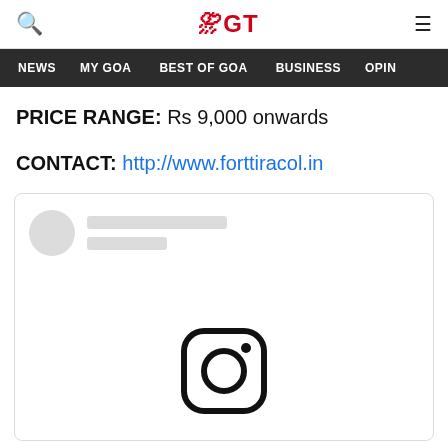GT (Goa Times) - navigation header with search, logo, and menu icons
NEWS | MY GOA | BEST OF GOA | BUSINESS | OPIN...
PRICE RANGE: Rs 9,000 onwards
CONTACT: http://www.forttiracol.in
[Figure (screenshot): Instagram embed placeholder card with avatar circle, two grey text placeholder bars, and Instagram logo icon centered below]